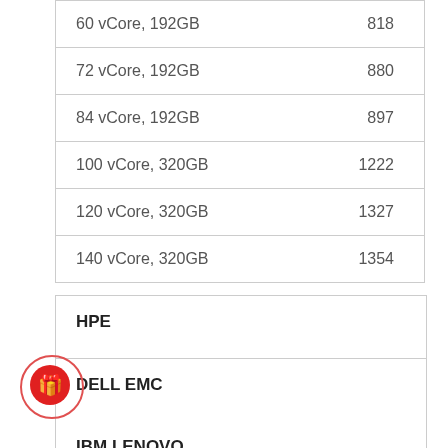| Configuration | Value |
| --- | --- |
| 60 vCore, 192GB | 818 |
| 72 vCore, 192GB | 880 |
| 84 vCore, 192GB | 897 |
| 100 vCore, 320GB | 1222 |
| 120 vCore, 320GB | 1327 |
| 140 vCore, 320GB | 1354 |
HPE
DELL EMC
IBM LENOVO